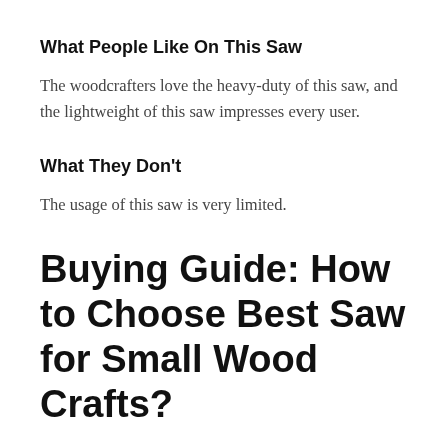What People Like On This Saw
The woodcrafters love the heavy-duty of this saw, and the lightweight of this saw impresses every user.
What They Don’t
The usage of this saw is very limited.
Buying Guide: How to Choose Best Saw for Small Wood Crafts?